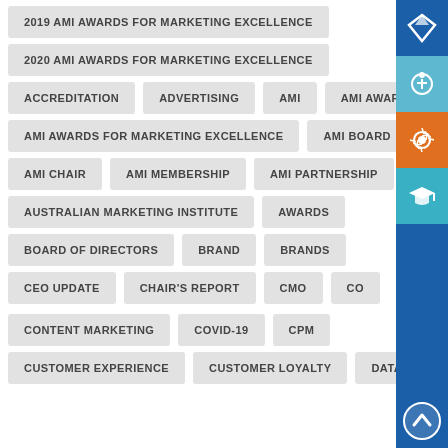2019 AMI AWARDS FOR MARKETING EXCELLENCE
2020 AMI AWARDS FOR MARKETING EXCELLENCE
ACCREDITATION
ADVERTISING
AMI
AMI AWARDS
AMI AWARDS FOR MARKETING EXCELLENCE
AMI BOARD
AMI CHAIR
AMI MEMBERSHIP
AMI PARTNERSHIP
AUSTRALIAN MARKETING INSTITUTE
AWARDS
BOARD OF DIRECTORS
BRAND
BRANDS
CEO UPDATE
CHAIR'S REPORT
CMO
CO...
CONTENT MARKETING
COVID-19
CPM
CUSTOMER EXPERIENCE
CUSTOMER LOYALTY
DATA